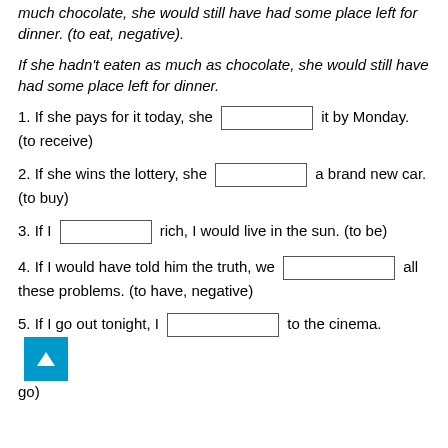much chocolate, she would still have had some place left for dinner. (to eat, negative).
If she hadn't eaten as much as chocolate, she would still have had some place left for dinner.
1. If she pays for it today, she [___] it by Monday. (to receive)
2. If she wins the lottery, she [___] a brand new car. (to buy)
3. If I [___] rich, I would live in the sun. (to be)
4. If I would have told him the truth, we [___] all these problems. (to have, negative)
5. If I go out tonight, I [___] to the cinema. (to go)